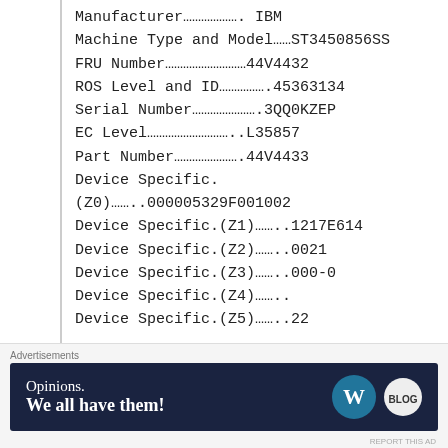Manufacturer………………. IBM
Machine Type and Model……ST3450856SS
FRU Number………………………44V4432
ROS Level and ID…………….45363134
Serial Number………………….3QQ0KZEP
EC Level………………………..L35857
Part Number………………….44V4433
Device Specific.
(Z0)……..000005329F001002
Device Specific.(Z1)……..1217E614
Device Specific.(Z2)……..0021
Device Specific.(Z3)……..000-0
Device Specific.(Z4)……..
Device Specific.(Z5)……..22
Advertisements — Opinions. We all have them!